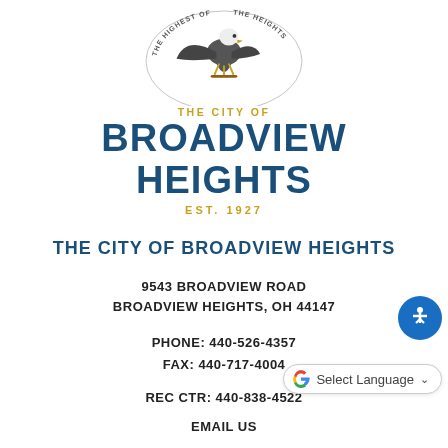[Figure (logo): City of Broadview Heights eagle seal logo with text 'THE HIGHEST OF THE HEIGHTS', 'THE CITY OF', 'BROADVIEW HEIGHTS', 'EST. 1927']
THE CITY OF BROADVIEW HEIGHTS
9543 BROADVIEW ROAD
BROADVIEW HEIGHTS, OH 44147
PHONE: 440-526-4357
FAX: 440-717-4004
REC CTR: 440-838-4522
EMAIL US